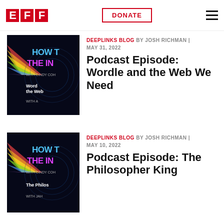EFF | DONATE | menu
RELATED UPDATES
[Figure (illustration): Podcast thumbnail showing 'HOW THE INT... WITH CINDY COH... Wordle and the Web' on dark background with colorful light beams]
DEEPLINKS BLOG BY JOSH RICHMAN | MAY 31, 2022
Podcast Episode: Wordle and the Web We Need
[Figure (illustration): Podcast thumbnail showing 'HOW THE INT... WITH CINDY COH... The Philos...' on dark background with colorful light beams]
DEEPLINKS BLOG BY JOSH RICHMAN | MAY 10, 2022
Podcast Episode: The Philosopher King